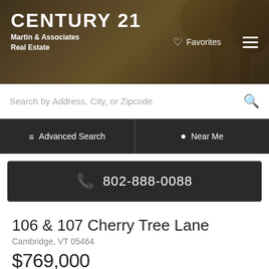[Figure (screenshot): Century 21 Martin & Associates Real Estate website header with background nature photo of trees]
CENTURY 21
Martin & Associates
Real Estate
♡ Favorites
Search by Address, City, or Zipcode
≡ Advanced Search
📍 Near Me
📞 802-888-0088
106 & 107 Cherry Tree Lane
Cambridge, VT 05464
$769,000